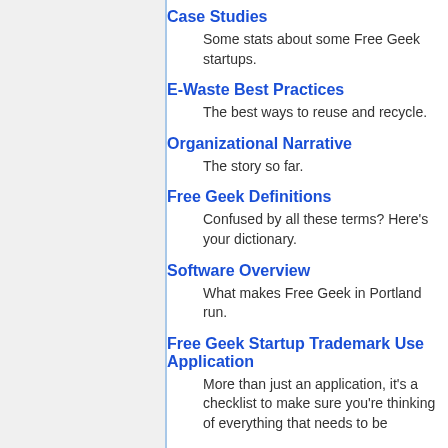Case Studies
Some stats about some Free Geek startups.
E-Waste Best Practices
The best ways to reuse and recycle.
Organizational Narrative
The story so far.
Free Geek Definitions
Confused by all these terms? Here's your dictionary.
Software Overview
What makes Free Geek in Portland run.
Free Geek Startup Trademark Use Application
More than just an application, it's a checklist to make sure you're thinking of everything that needs to be